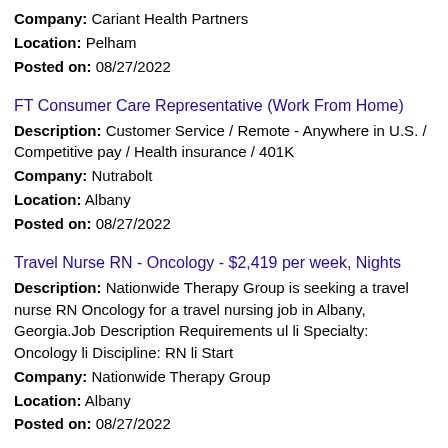Company: Cariant Health Partners
Location: Pelham
Posted on: 08/27/2022
FT Consumer Care Representative (Work From Home)
Description: Customer Service / Remote - Anywhere in U.S. / Competitive pay / Health insurance / 401K
Company: Nutrabolt
Location: Albany
Posted on: 08/27/2022
Travel Nurse RN - Oncology - $2,419 per week, Nights
Description: Nationwide Therapy Group is seeking a travel nurse RN Oncology for a travel nursing job in Albany, Georgia.Job Description Requirements ul li Specialty: Oncology li Discipline: RN li Start
Company: Nationwide Therapy Group
Location: Albany
Posted on: 08/27/2022
Salary in Tallahassee, Florida Area | More details for Tallahassee, Florida Jobs |Salary
Buger King Shift Supervisor/Assistant Manager